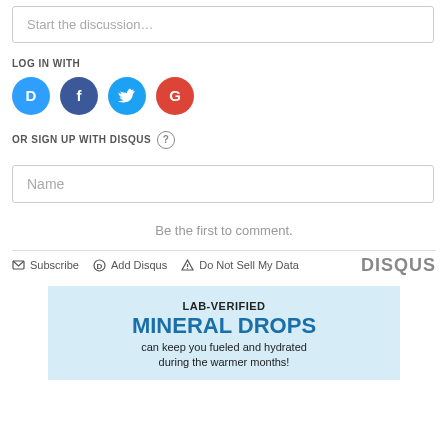Start the discussion…
LOG IN WITH
[Figure (other): Social login icons for Disqus, Facebook, Twitter, and Google]
OR SIGN UP WITH DISQUS ?
Name
Be the first to comment.
Subscribe  Add Disqus  Do Not Sell My Data   DISQUS
[Figure (infographic): Advertisement: LAB-VERIFIED MINERAL DROPS can keep you fueled and hydrated during the warmer months!]